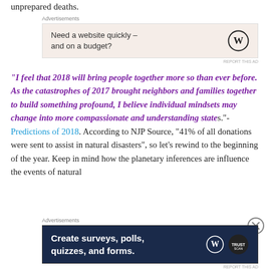unprepared deaths.
[Figure (screenshot): Advertisement banner: 'Need a website quickly – and on a budget?' with WordPress logo on beige background]
“I feel that 2018 will bring people together more so than ever before. As the catastrophes of 2017 brought neighbors and families together to build something profound, I believe individual mindsets may change into more compassionate and understanding states.”- Predictions of 2018. According to NJP Source, “41% of all donations were sent to assist in natural disasters”, so let’s rewind to the beginning of the year. Keep in mind how the planetary inferences are influence the events of natural
[Figure (screenshot): Advertisement banner: 'Create surveys, polls, quizzes, and forms.' with WordPress logo on dark navy background]